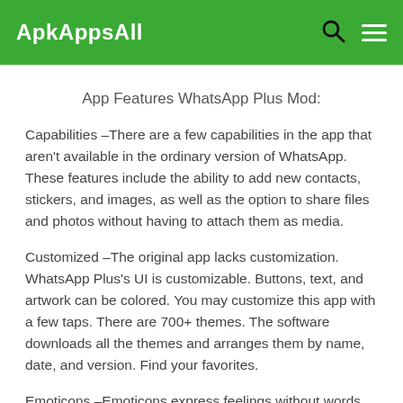ApkAppsAll
App Features WhatsApp Plus Mod:
Capabilities –There are a few capabilities in the app that aren't available in the ordinary version of WhatsApp. These features include the ability to add new contacts, stickers, and images, as well as the option to share files and photos without having to attach them as media.
Customized –The original app lacks customization. WhatsApp Plus's UI is customizable. Buttons, text, and artwork can be colored. You may customize this app with a few taps. There are 700+ themes. The software downloads all the themes and arranges them by name, date, and version. Find your favorites.
Emoticons –Emoticons express feelings without words. When we can't find the right words, we utilize emoticons. In WhatsApp, we're limited to emoticons. In WhatsApp Plus, there are more emoticons. They've added Hangouts emoticons for diversity. WhatsApp Plus